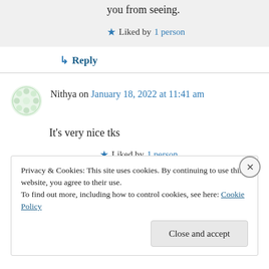you from seeing.
★ Liked by 1 person
↳ Reply
Nithya on January 18, 2022 at 11:41 am
It's very nice tks
★ Liked by 1 person
↳ Reply
Privacy & Cookies: This site uses cookies. By continuing to use this website, you agree to their use. To find out more, including how to control cookies, see here: Cookie Policy
Close and accept